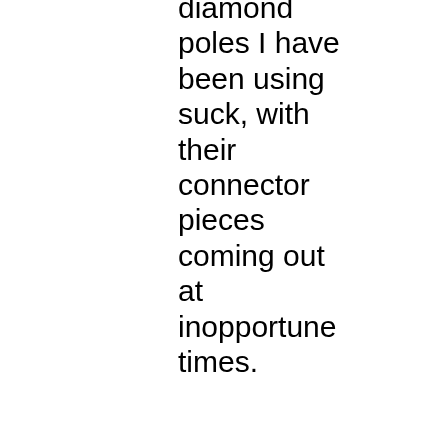diamond poles I have been using suck, with their connector pieces coming out at inopportune times.

Better food choices.

Reduce! My